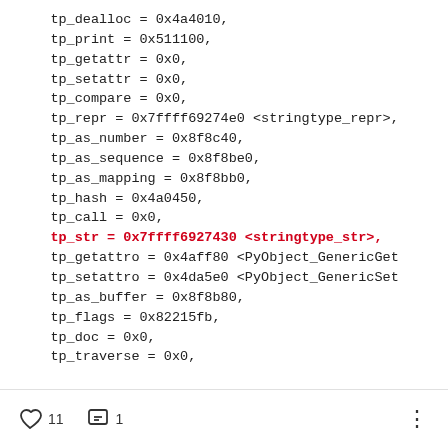tp_dealloc = 0x4a4010,
    tp_print = 0x511100,
    tp_getattr = 0x0,
    tp_setattr = 0x0,
    tp_compare = 0x0,
    tp_repr = 0x7ffff69274e0 <stringtype_repr>,
    tp_as_number = 0x8f8c40,
    tp_as_sequence = 0x8f8be0,
    tp_as_mapping = 0x8f8bb0,
    tp_hash = 0x4a0450,
    tp_call = 0x0,
    tp_str = 0x7ffff6927430 <stringtype_str>,
    tp_getattro = 0x4aff80 <PyObject_GenericGet
    tp_setattro = 0x4da5e0 <PyObject_GenericSet
    tp_as_buffer = 0x8f8b80,
    tp_flags = 0x82215fb,
    tp_doc = 0x0,
    tp_traverse = 0x0,
11  1